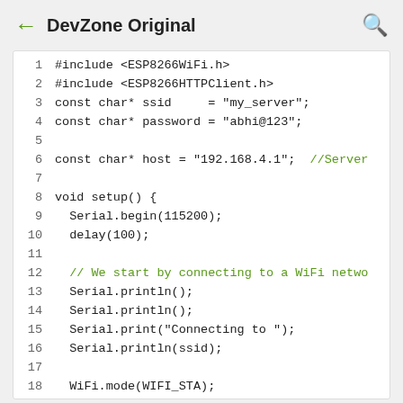DevZone Original
Code listing: ESP8266 WiFi HTTP client sketch lines 1-21